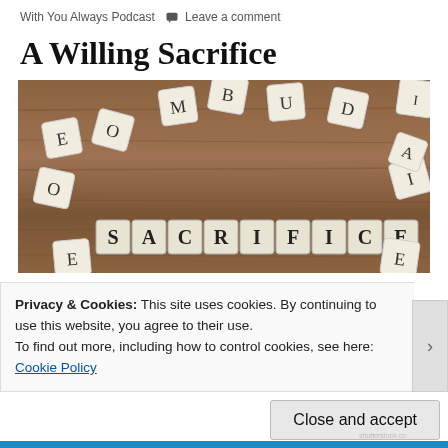With You Always Podcast  💬 Leave a comment
A Willing Sacrifice
[Figure (photo): Scrabble letter tiles scattered on a wooden surface, with the word SACRIFICE spelled out in a row of tiles in the center]
Privacy & Cookies: This site uses cookies. By continuing to use this website, you agree to their use.
To find out more, including how to control cookies, see here: Cookie Policy
Close and accept